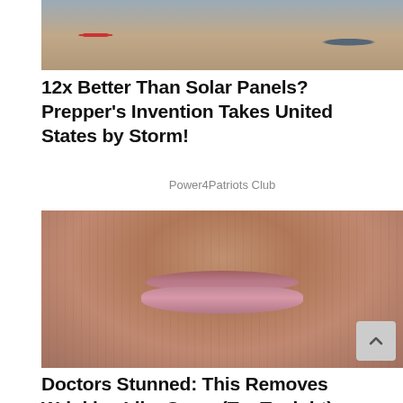[Figure (photo): Partial top image showing a red item and mechanical/electronic components on a surface, cropped at top]
12x Better Than Solar Panels? Prepper's Invention Takes United States by Storm!
Power4Patriots Club
[Figure (photo): Extreme close-up of elderly person's mouth and lips area showing heavy wrinkles and aged skin]
Doctors Stunned: This Removes Wrinkles Like Crazy (Try Tonight)